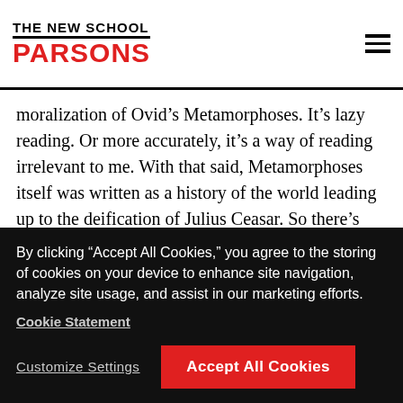THE NEW SCHOOL PARSONS
moralization of Ovid’s Metamorphoses. It’s lazy reading. Or more accurately, it’s a way of reading irrelevant to me. With that said, Metamorphoses itself was written as a history of the world leading up to the deification of Julius Ceasar. So there’s that. We are never without agenda. But that’s not what you asked. How did it change me? Oh, I don’t know—with feeling.
AR: This book will soon be in your hands. What do
By clicking “Accept All Cookies,” you agree to the storing of cookies on your device to enhance site navigation, analyze site usage, and assist in our marketing efforts.
Cookie Statement
Customize Settings
Accept All Cookies